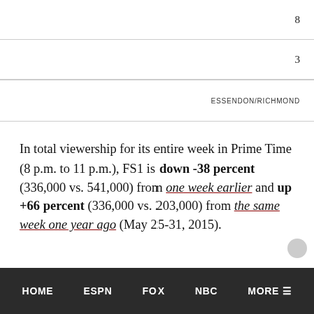| 8 |
| 3 |
| ESSENDON/RICHMOND |
In total viewership for its entire week in Prime Time (8 p.m. to 11 p.m.), FS1 is down -38 percent (336,000 vs. 541,000) from one week earlier and up +66 percent (336,000 vs. 203,000) from the same week one year ago (May 25-31, 2015).
HOME   ESPN   FOX   NBC   MORE ≡